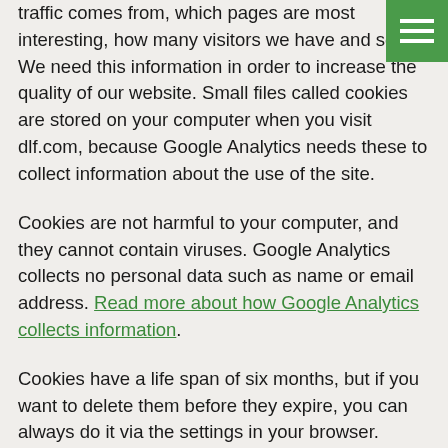traffic comes from, which pages are most interesting, how many visitors we have and so on. We need this information in order to increase the quality of our website. Small files called cookies are stored on your computer when you visit dlf.com, because Google Analytics needs these to collect information about the use of the site.
Cookies are not harmful to your computer, and they cannot contain viruses. Google Analytics collects no personal data such as name or email address. Read more about how Google Analytics collects information.
Cookies have a life span of six months, but if you want to delete them before they expire, you can always do it via the settings in your browser.